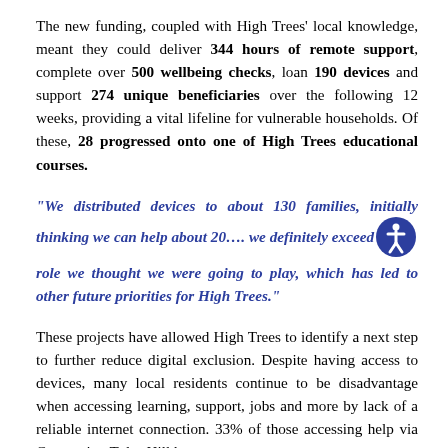The new funding, coupled with High Trees' local knowledge, meant they could deliver 344 hours of remote support, complete over 500 wellbeing checks, loan 190 devices and support 274 unique beneficiaries over the following 12 weeks, providing a vital lifeline for vulnerable households. Of these, 28 progressed onto one of High Trees educational courses.
“We distributed devices to about 130 families, initially thinking we can help about 20…. we definitely exceeded the role we thought we were going to play, which has led to other future priorities for High Trees.”
These projects have allowed High Trees to identify a next step to further reduce digital exclusion. Despite having access to devices, many local residents continue to be disadvantage when accessing learning, support, jobs and more by lack of a reliable internet connection. 33% of those accessing help via Connecting Tulse Hill have no